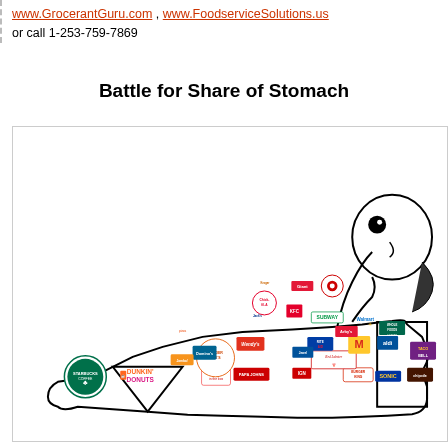www.GrocerantGuru.com , www.FoodserviceSolutions.us or call 1-253-759-7869
Battle for Share of Stomach
[Figure (illustration): Illustration of a reclining cartoon figure whose body is covered with food and retail brand logos including Starbucks, Dunkin' Donuts, Jack in the Box, Papa Johns, IGN, Burger King, Sonic, Chipotle, Taco Bell, Red Lobster, Rite Aid, McDonald's, Aldi, Whole Foods, Walmart, Arby's, Subway, KFC, Chick-fil-A, Giant, Target, Trader Joe's, Wendy's, Domino's, and others.]